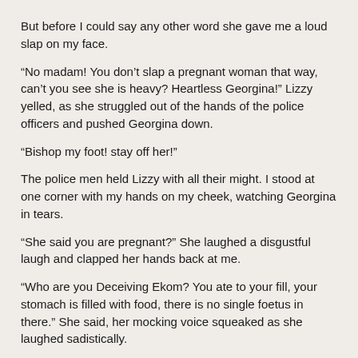But before I could say any other word she gave me a loud slap on my face.
“No madam! You don’t slap a pregnant woman that way, can’t you see she is heavy? Heartless Georgina!” Lizzy yelled, as she struggled out of the hands of the police officers and pushed Georgina down.
“Bishop my foot! stay off her!”
The police men held Lizzy with all their might. I stood at one corner with my hands on my cheek, watching Georgina in tears.
“She said you are pregnant?” She laughed a disgustful laugh and clapped her hands back at me.
“Who are you Deceiving Ekom? You ate to your fill, your stomach is filled with food, there is no single foetus in there.” She said, her mocking voice squeaked as she laughed sadistically.
“You are not God! shame on you devil!”